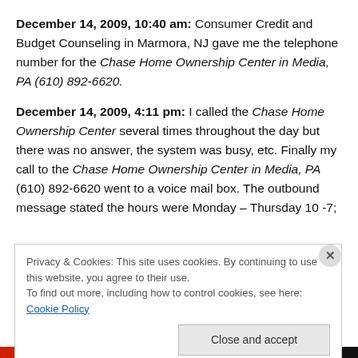December 14, 2009, 10:40 am: Consumer Credit and Budget Counseling in Marmora, NJ gave me the telephone number for the Chase Home Ownership Center in Media, PA (610) 892-6620.
December 14, 2009, 4:11 pm: I called the Chase Home Ownership Center several times throughout the day but there was no answer, the system was busy, etc. Finally my call to the Chase Home Ownership Center in Media, PA (610) 892-6620 went to a voice mail box. The outbound message stated the hours were Monday – Thursday 10 -7;
Privacy & Cookies: This site uses cookies. By continuing to use this website, you agree to their use. To find out more, including how to control cookies, see here: Cookie Policy